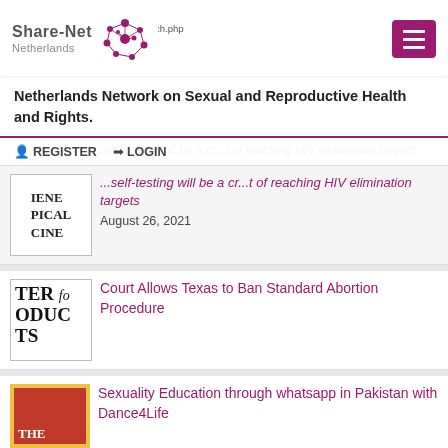[Figure (logo): Share-Net Netherlands logo with network icon dots]
Theme: Family Planning
URL: https://www...ve.org/library/search.php search_id...
Netherlands Network on Sexual and Reproductive Health and Rights.
REGISTER   LOGIN
...self-testing will be a cr...t of reaching HIV elimination targets
[Figure (illustration): Thumbnail image with text IENE PICAL CINE]
August 26, 2021
[Figure (illustration): Thumbnail with text TER fo ODUC TS]
Court Allows Texas to Ban Standard Abortion Procedure
[Figure (illustration): Red background thumbnail with yellow border and text THE]
Sexuality Education through whatsapp in Pakistan with Dance4Life